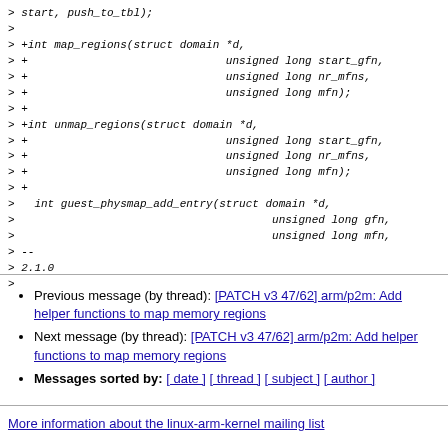> start, push_to_tbl);
>
> +int map_regions(struct domain *d,
> +                              unsigned long start_gfn,
> +                              unsigned long nr_mfns,
> +                              unsigned long mfn);
> +
> +int unmap_regions(struct domain *d,
> +                              unsigned long start_gfn,
> +                              unsigned long nr_mfns,
> +                              unsigned long mfn);
> +
>   int guest_physmap_add_entry(struct domain *d,
>                                       unsigned long gfn,
>                                       unsigned long mfn,
> --
> 2.1.0
>
Previous message (by thread): [PATCH v3 47/62] arm/p2m: Add helper functions to map memory regions
Next message (by thread): [PATCH v3 47/62] arm/p2m: Add helper functions to map memory regions
Messages sorted by: [ date ] [ thread ] [ subject ] [ author ]
More information about the linux-arm-kernel mailing list